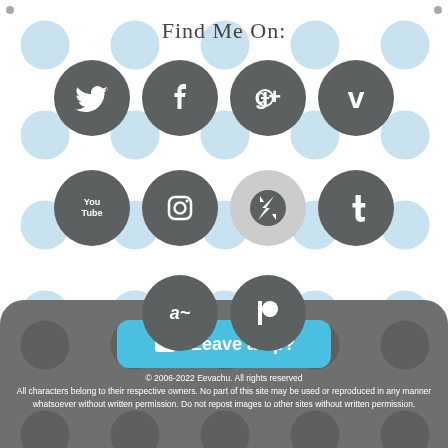Find Me On:
[Figure (illustration): Grid of social media icon circles: Twitter, Facebook, Google+, Vimeo (row 1); YouTube, Instagram, DeviantArt, Tumblr (row 2); FurAffinity, Patreon (row 3)]
[Figure (illustration): Ko-fi tip button with coffee cup icon and text 'Leave a tip?']
© 2006-2022 Eevachu. All rights reserved
All characters belong to their respective owners. No part of this site may be used or reproduced in any manner whatsoever without written permission. Do not repost images to other sites without written permission.